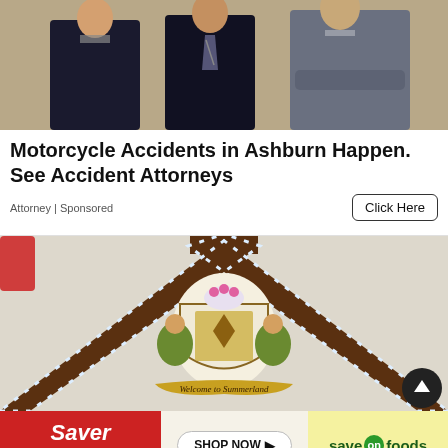[Figure (photo): Three men in business suits standing together, professional photo]
Motorcycle Accidents in Ashburn Happen. See Accident Attorneys
Attorney | Sponsored
Click Here
[Figure (photo): Decorative wooden gable with a coat of arms and a banner reading 'Welcome to Summerland']
[Figure (photo): Saver days - Shop Now - Save on Foods advertisement banner]